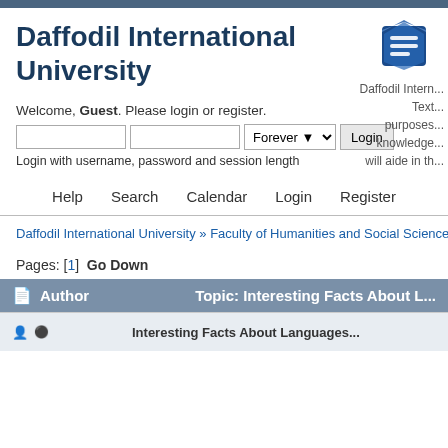Daffodil International University
Welcome, Guest. Please login or register.
Login with username, password and session length
Daffodil Intern... Text... purposes... knowledge... will aide in th...
Help   Search   Calendar   Login   Register
Daffodil International University » Faculty of Humanities and Social Science » English (M...
Pages: [1]   Go Down
| Author | Topic: Interesting Facts About L... |
| --- | --- |
|  | Interesting Facts About Languages... |